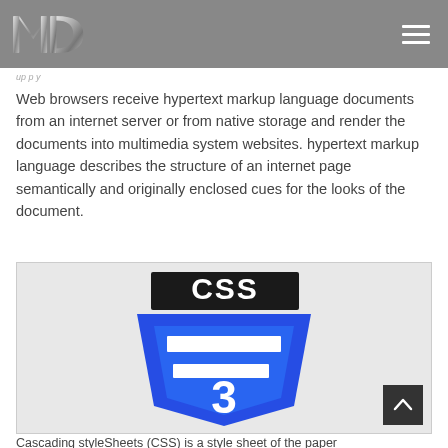MD logo and navigation
Web browsers receive hypertext markup language documents from an internet server or from native storage and render the documents into multimedia system websites. hypertext markup language describes the structure of an internet page semantically and originally enclosed cues for the looks of the document.
[Figure (logo): CSS3 logo: bold black text 'CSS' above a blue shield shape with white '3' number and CSS3 shield design]
Cascading styleSheets (CSS) is a style sheet of the paper